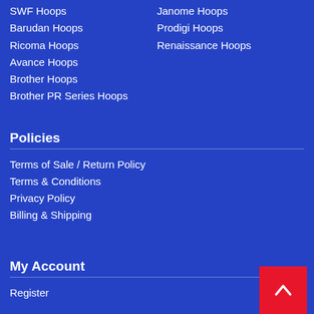SWF Hoops
Janome Hoops
Barudan Hoops
Prodigi Hoops
Ricoma Hoops
Renaissance Hoops
Avance Hoops
Brother Hoops
Brother PR Series Hoops
Policies
Terms of Sale / Return Policy
Terms & Conditions
Privacy Policy
Billing & Shipping
My Account
Register